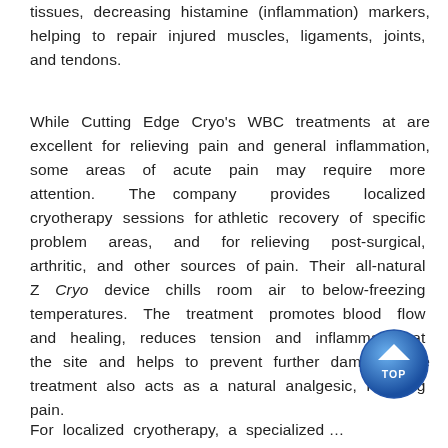tissues, decreasing histamine (inflammation) markers, helping to repair injured muscles, ligaments, joints, and tendons.
While Cutting Edge Cryo's WBC treatments at are excellent for relieving pain and general inflammation, some areas of acute pain may require more attention. The company provides localized cryotherapy sessions for athletic recovery of specific problem areas, and for relieving post-surgical, arthritic, and other sources of pain. Their all-natural Z Cryo device chills room air to below-freezing temperatures. The treatment promotes blood flow and healing, reduces tension and inflammation at the site and helps to prevent further damage. The treatment also acts as a natural analgesic, relieving pain.
For localized cryotherapy, a specialized ER, it lets the...
[Figure (other): Blue circular TOP navigation button with upward arrow and 'TOP' text label]